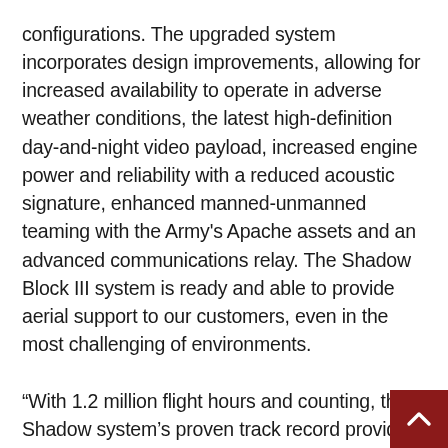configurations. The upgraded system incorporates design improvements, allowing for increased availability to operate in adverse weather conditions, the latest high-definition day-and-night video payload, increased engine power and reliability with a reduced acoustic signature, enhanced manned-unmanned teaming with the Army's Apache assets and an advanced communications relay. The Shadow Block III system is ready and able to provide aerial support to our customers, even in the most challenging of environments.
“With 1.2 million flight hours and counting, the Shadow system’s proven track record provides a solid foundation for continued development and use around the world,” the company said.